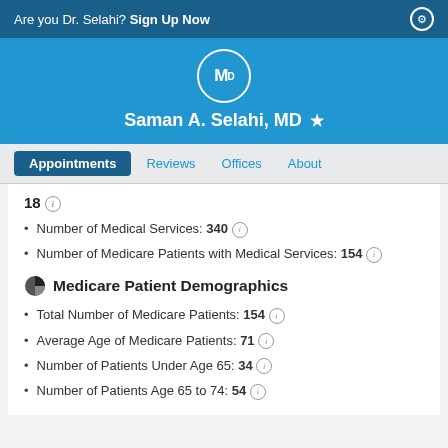Are you Dr. Selahi? Sign Up Now
Saman A. Selahi, MD
Appointments | Reviews | Offices | About
18
Number of Medical Services: 340
Number of Medicare Patients with Medical Services: 154
Medicare Patient Demographics
Total Number of Medicare Patients: 154
Average Age of Medicare Patients: 71
Number of Patients Under Age 65: 34
Number of Patients Age 65 to 74: 54